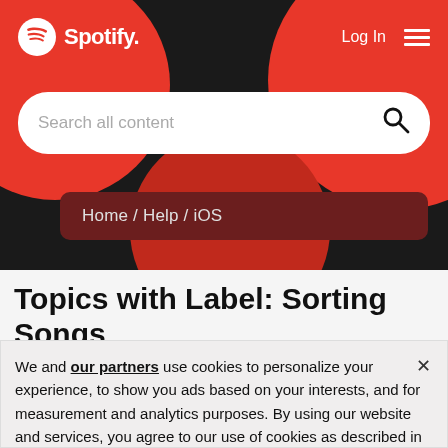[Figure (screenshot): Spotify header with logo, Login button, hamburger menu, red and black decorative circles background]
Search all content
Home / Help / iOS
Topics with Label: Sorting Songs
We and our partners use cookies to personalize your experience, to show you ads based on your interests, and for measurement and analytics purposes. By using our website and services, you agree to our use of cookies as described in our Cookie Policy.